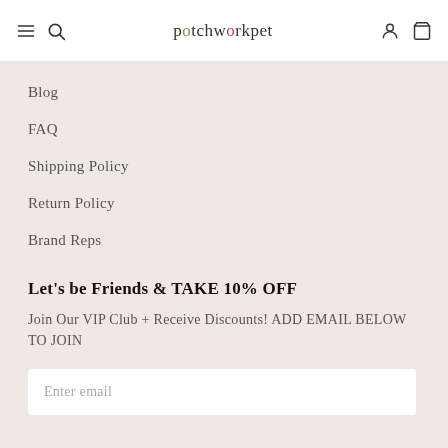patchworkpet
Blog
FAQ
Shipping Policy
Return Policy
Brand Reps
Let's be Friends & TAKE 10% OFF
Join Our VIP Club + Receive Discounts! ADD EMAIL BELOW TO JOIN
Enter email